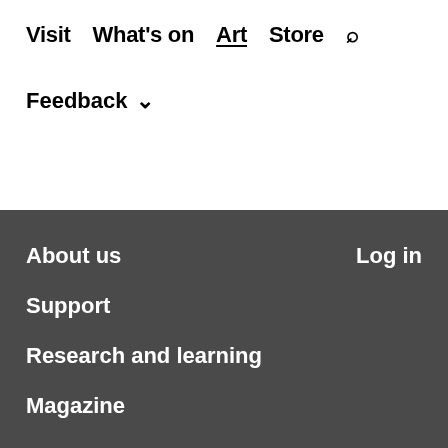Visit  What's on  Art  Store  🔍
Feedback ∨
About us
Log in
Support
Research and learning
Magazine